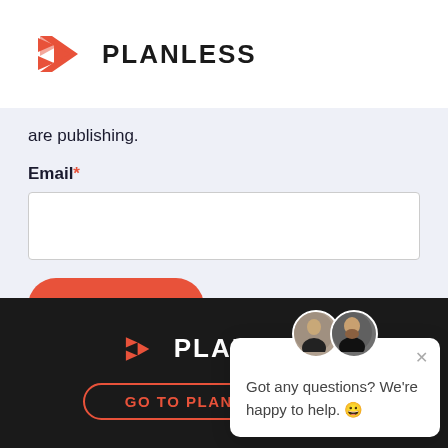[Figure (logo): Planless logo with red chevron/arrow icon and bold PLANLESS text in dark]
are publishing.
Email*
[Figure (screenshot): Email input text field, white background with border]
[Figure (screenshot): Subscribe button, rounded red pill shape with white text Subscribe]
[Figure (screenshot): Chat popup widget showing two avatars, close button X, and text: Got any questions? We're happy to help. 😀]
[Figure (logo): Planless footer logo white text on dark background]
GO TO PLANLESS.COM